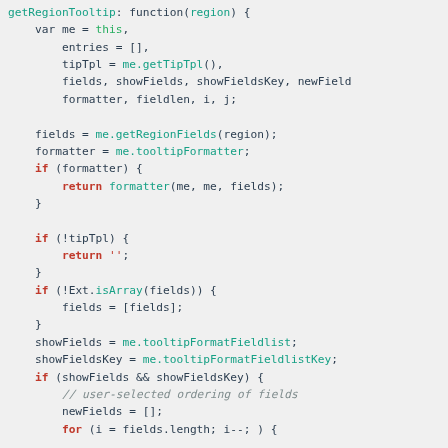[Figure (screenshot): JavaScript source code snippet showing a function body with variable declarations, field operations, formatter check, tipTpl check, array check, showFields/showFieldsKey assignments, and a for loop beginning.]